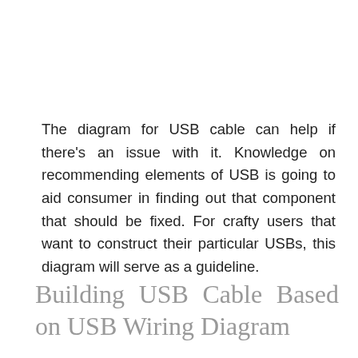The diagram for USB cable can help if there's an issue with it. Knowledge on recommending elements of USB is going to aid consumer in finding out that component that should be fixed. For crafty users that want to construct their particular USBs, this diagram will serve as a guideline.
Building USB Cable Based on USB Wiring Diagram